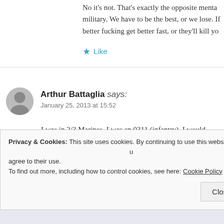No it's not. That's exactly the opposite mental[ity of the] military. We have to be the best, or we lose. If [you aren't,] better fucking get better fast, or they'll kill you
★ Like
Arthur Battaglia says:
January 25, 2013 at 15:52
I was in 2/3 Marines. I was an 0311 (infantry). I would [look] down on. Let me give you a scernio that happens often[.] other men in the military sitting around having a beer. [You] hold your head high knowing that you were in the infa[ntry]
Privacy & Cookies: This site uses cookies. By continuing to use this website, you agree to their use.
To find out more, including how to control cookies, see here: Cookie Policy
Close and accept